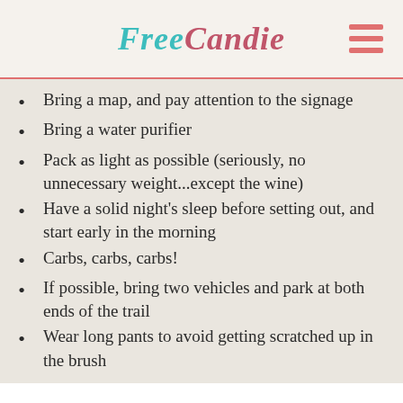FreeCandie
Bring a map, and pay attention to the signage
Bring a water purifier
Pack as light as possible (seriously, no unnecessary weight...except the wine)
Have a solid night’s sleep before setting out, and start early in the morning
Carbs, carbs, carbs!
If possible, bring two vehicles and park at both ends of the trail
Wear long pants to avoid getting scratched up in the brush